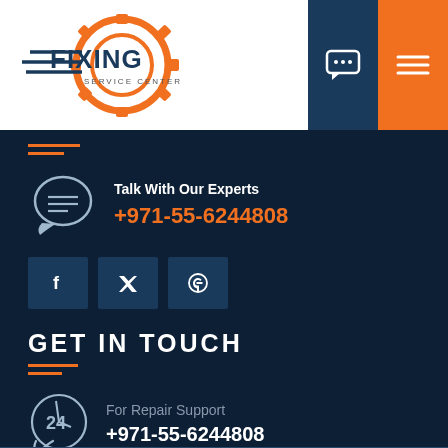[Figure (logo): Fixing Service Center logo with orange gear and text]
[Figure (illustration): Chat bubble icon in dark blue nav bar]
[Figure (illustration): Hamburger menu icon in orange nav bar]
[Figure (illustration): Chat/speech bubble icon with lines]
Talk With Our Experts
+971-55-6244808
[Figure (illustration): Facebook icon square button]
[Figure (illustration): Twitter icon square button]
[Figure (illustration): WhatsApp icon square button]
GET IN TOUCH
[Figure (illustration): 24-hour phone support icon circle]
For Repair Support
+971-55-6244808